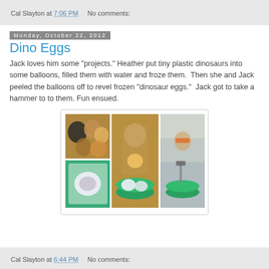Cal Slayton at 7:06 PM     No comments:
Monday, October 22, 2012
Dino Eggs
Jack loves him some "projects." Heather put tiny plastic dinosaurs into some balloons, filled them with water and froze them.  Then she and Jack peeled the balloons off to revel frozen "dinosaur eggs."  Jack got to take a hammer to to them. Fun ensued.
[Figure (photo): Photo collage of four images showing balloons filled with water containing plastic dinosaurs, a frozen egg in a bag, a boy holding a frozen egg over a green bowl, and a boy wearing goggles hammering into a green bowl of frozen eggs.]
Cal Slayton at 6:44 PM     No comments: